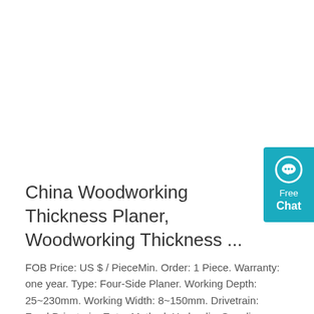[Figure (other): Free Chat widget button — teal/cyan background with chat bubble icon, text 'Free Chat']
China Woodworking Thickness Planer, Woodworking Thickness ...
FOB Price: US $ / PieceMin. Order: 1 Piece. Warranty: one year. Type: Four-Side Planer. Working Depth: 25~230mm. Working Width: 8~150mm. Drivetrain: Feed Drivetrain. Enter Method: Hydraulic. Suppliers with verified business licenses. 5.0.
Get Price